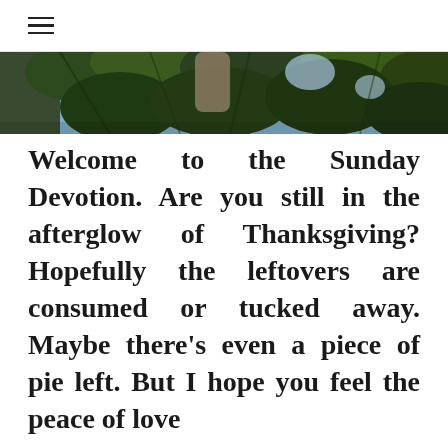≡
[Figure (photo): A cropped photo showing green pine/fir tree branches with natural outdoor light, partial view of an object behind the branches.]
Welcome to the Sunday Devotion. Are you still in the afterglow of Thanksgiving? Hopefully the leftovers are consumed or tucked away. Maybe there's even a piece of pie left. But I hope you feel the peace of love